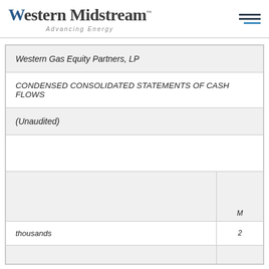Western Midstream™ — Advancing Energy
Western Gas Equity Partners, LP
CONDENSED CONSOLIDATED STATEMENTS OF CASH FLOWS
(Unaudited)
| thousands |  |
| --- | --- |